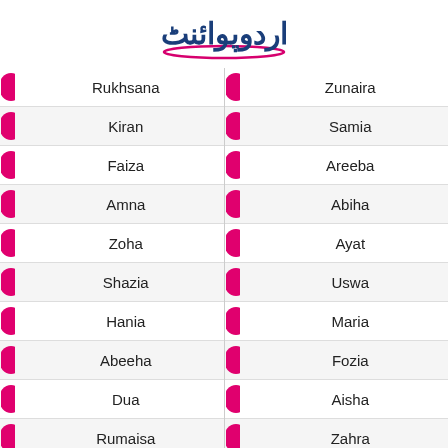[Figure (logo): Urdu Point logo with Urdu script text in dark blue]
Rukhsana
Zunaira
Kiran
Samia
Faiza
Areeba
Amna
Abiha
Zoha
Ayat
Shazia
Uswa
Hania
Maria
Abeeha
Fozia
Dua
Aisha
Rumaisa
Zahra